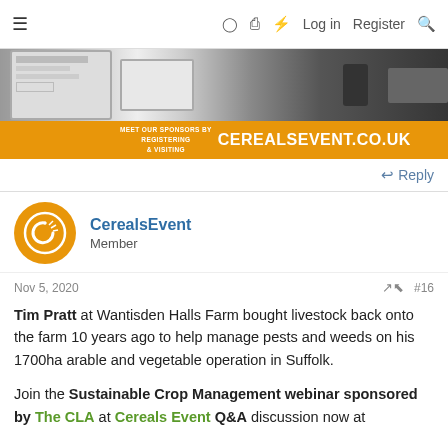≡   □ ⚡ Log in   Register  🔍
[Figure (screenshot): Website screenshot showing tablet/phone devices with a forum interface, overlaid with an orange banner reading MEET OUR SPONSORS BY REGISTERING & VISITING CEREALSEVENT.CO.UK]
↩ Reply
CerealsEvent
Member
Nov 5, 2020   #16
Tim Pratt at Wantisden Halls Farm bought livestock back onto the farm 10 years ago to help manage pests and weeds on his 1700ha arable and vegetable operation in Suffolk.

Join the Sustainable Crop Management webinar sponsored by The CLA at Cereals Event Q&A discussion now at